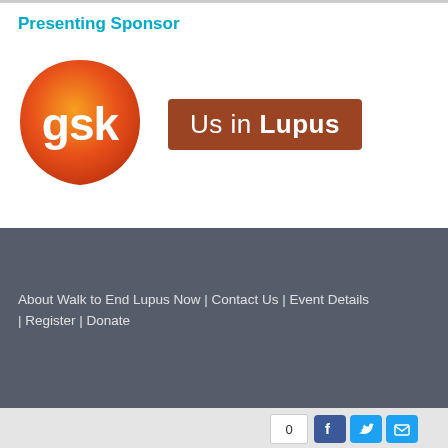Presenting Sponsor
[Figure (logo): GSK logo — orange/red gradient rounded teardrop shape with white 'gsk' text, beside a dark brown/rust rectangular badge reading 'Us in Lupus']
About Walk to End Lupus Now | Contact Us | Event Details | Register | Donate
[Figure (infographic): Social share bar: share count showing 0, Facebook button, Twitter button, email/share button]